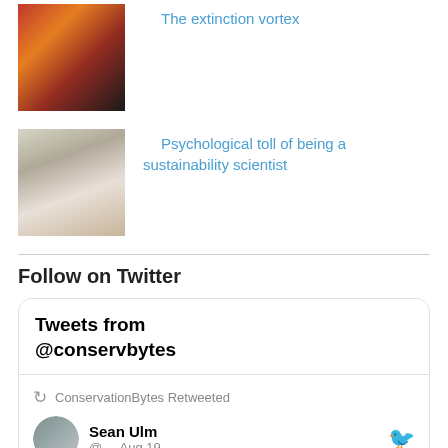[Figure (photo): Red swirl abstract image]
The extinction vortex
[Figure (photo): Woman resting head on arms near wine glass]
Psychological toll of being a sustainability scientist
Follow on Twitter
Tweets from @conservbytes
ConservationBytes Retweeted
Sean Ulm @.. · Aug 19